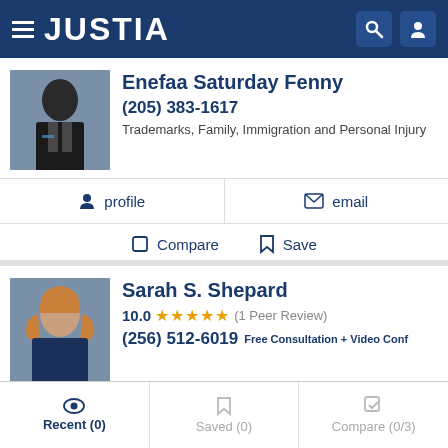JUSTIA
Enefaa Saturday Fenny
(205) 383-1617
Trademarks, Family, Immigration and Personal Injury
profile
email
Compare
Save
Sarah S. Shepard
10.0 ★★★★★ (1 Peer Review)
(256) 512-6019 Free Consultation + Video Conf
website
profile
email
Recent (0)   Saved (0)   Compare (0/3)